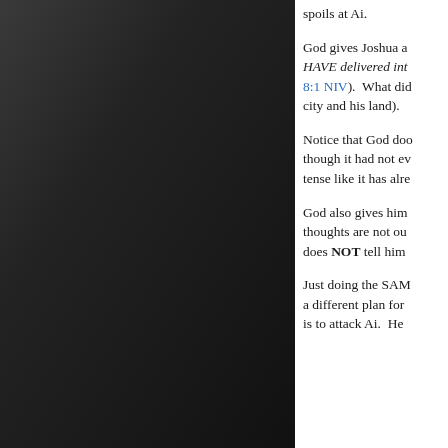[Figure (photo): Dark gray gradient background panel on the left side of the page]
spoils at Ai.

God gives Joshua a... HAVE delivered int... 8:1 NIV). What did... city and his land).

Notice that God doo... though it had not ev... tense like it has alre...

God also gives him... thoughts are not ou... does NOT tell him...

Just doing the SAM... a different plan for... is to attack Ai. He...